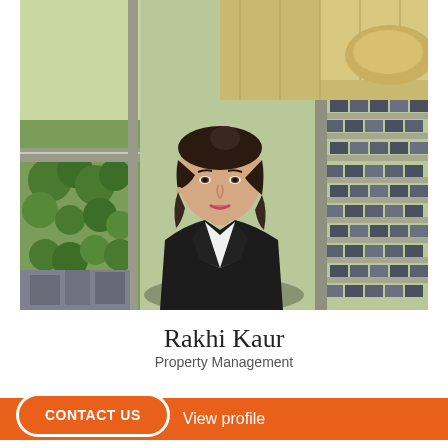[Figure (photo): Professional headshot of Rakhi Kaur, a woman wearing a black blazer over a white top, with her hair pulled back. The background is an aerial photograph of a suburban residential area with streets, houses, and green spaces.]
Rakhi Kaur
Property Management
CONTACT US
View profile